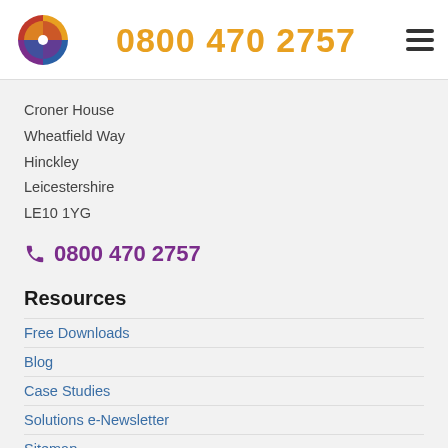[Figure (logo): Croner/company logo: a pinwheel/pie-slice circle in red, yellow, blue, purple segments]
0800 470 2757
Croner House
Wheatfield Way
Hinckley
Leicestershire
LE10 1YG
0800 470 2757
Resources
Free Downloads
Blog
Case Studies
Solutions e-Newsletter
Sitemap